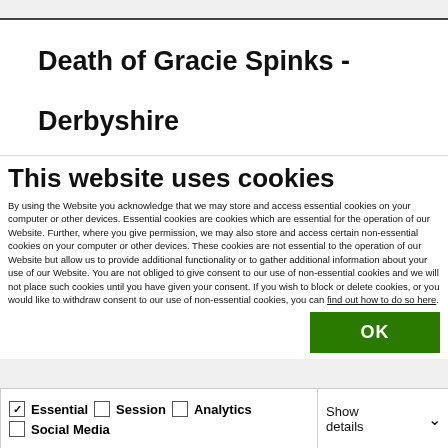Death of Gracie Spinks - Derbyshire
This website uses cookies
By using the Website you acknowledge that we may store and access essential cookies on your computer or other devices. Essential cookies are cookies which are essential for the operation of our Website. Further, where you give permission, we may also store and access certain non-essential cookies on your computer or other devices. These cookies are not essential to the operation of our Website but allow us to provide additional functionality or to gather additional information about your use of our Website. You are not obliged to give consent to our use of non-essential cookies and we will not place such cookies until you have given your consent. If you wish to block or delete cookies, or you would like to withdraw consent to our use of non-essential cookies, you can find out how to do so here.
OK
Essential | Session | Analytics | Social Media | Show details